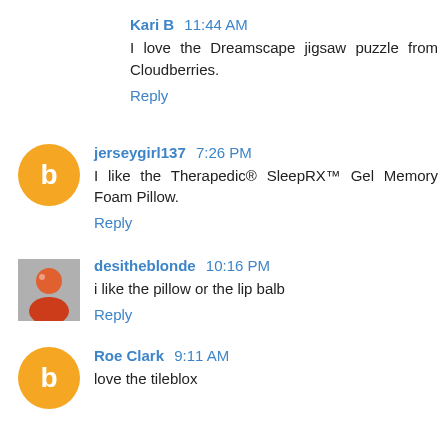Kari B  11:44 AM
I love the Dreamscape jigsaw puzzle from Cloudberries.
Reply
jerseygirl137  7:26 PM
I like the Therapedic® SleepRX™ Gel Memory Foam Pillow.
Reply
desitheblonde  10:16 PM
i like the pillow or the lip balb
Reply
Roe Clark  9:11 AM
love the tileblox